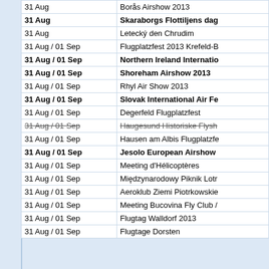| Date | Event |
| --- | --- |
| 31 Aug | Borås Airshow 2013 |
| 31 Aug | Skaraborgs Flottiljens dag |
| 31 Aug | Letecký den Chrudim |
| 31 Aug / 01 Sep | Flugplatzfest 2013 Krefeld-B... |
| 31 Aug / 01 Sep | Northern Ireland Internatio... |
| 31 Aug / 01 Sep | Shoreham Airshow 2013 |
| 31 Aug / 01 Sep | Rhyl Air Show 2013 |
| 31 Aug / 01 Sep | Slovak International Air Fe... |
| 31 Aug / 01 Sep | Degerfeld Flugplatzfest |
| 31 Aug / 01 Sep (strikethrough) | Haugesund Historiske Flysh... |
| 31 Aug / 01 Sep | Hausen am Albis Flugplatzfe... |
| 31 Aug / 01 Sep | Jesolo European Airshow |
| 31 Aug / 01 Sep | Meeting d'Hélicoptères |
| 31 Aug / 01 Sep | Międzynarodowy Piknik Lotr... |
| 31 Aug / 01 Sep | Aeroklub Ziemi Piotrkowskie... |
| 31 Aug / 01 Sep | Meeting Bucovina Fly Club /... |
| 31 Aug / 01 Sep | Flugtag Walldorf 2013 |
| 31 Aug / 01 Sep | Flugtage Dorsten |
September 2013 hide
| Date | Event |
| --- | --- |
| week 35 |  |
| 27 Aug / 01 Sep | MAKS 2013 - Moscow Avia... |